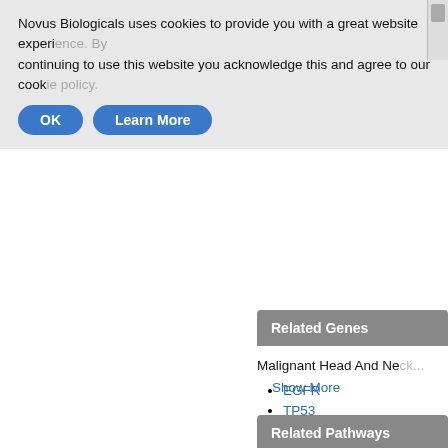Novus Biologicals uses cookies to provide you with a great website experience. By continuing to use this website you acknowledge this and agree to our cookie policy.
OK
Learn More
Rabbit Polyclonal
Species Human, M...
Applications WB,...
27 Publications
Related Genes
Malignant Head And Ne...
EGFR
TP53
POMT1
IL2
GY
Show More
Related Pathways